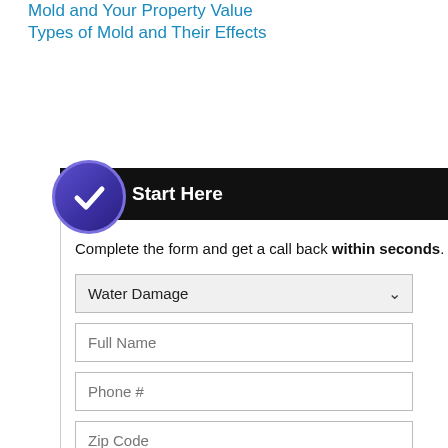Mold and Your Property Value
Types of Mold and Their Effects
[Figure (infographic): Web form widget with 'Start Here' header featuring a purple checkmark circle badge, text prompting user to complete form for callback within seconds, dropdown for Water Damage, input fields for Full Name, Phone #, Zip Code, a red 'Call Me Now!' button, and an '--- OR ---' section with a 24/7 hotline callout on a light blue gradient background.]